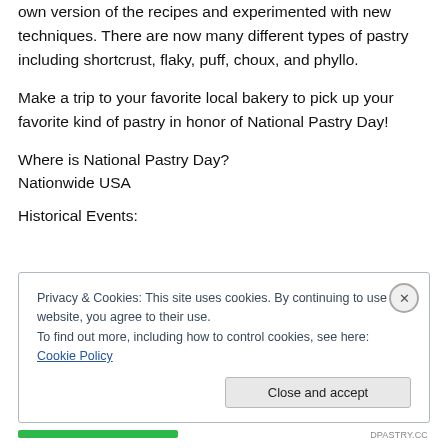own version of the recipes and experimented with new techniques. There are now many different types of pastry including shortcrust, flaky, puff, choux, and phyllo.
Make a trip to your favorite local bakery to pick up your favorite kind of pastry in honor of National Pastry Day!
Where is National Pastry Day?
Nationwide USA
Historical Events:
Privacy & Cookies: This site uses cookies. By continuing to use this website, you agree to their use.
To find out more, including how to control cookies, see here: Cookie Policy
Close and accept